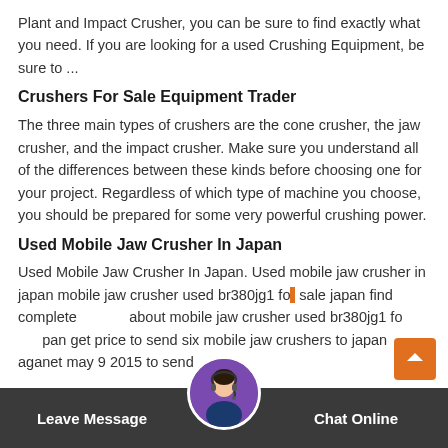Plant and Impact Crusher, you can be sure to find exactly what you need. If you are looking for a used Crushing Equipment, be sure to ...
Crushers For Sale Equipment Trader
The three main types of crushers are the cone crusher, the jaw crusher, and the impact crusher. Make sure you understand all of the differences between these kinds before choosing one for your project. Regardless of which type of machine you choose, you should be prepared for some very powerful crushing power.
Used Mobile Jaw Crusher In Japan
Used Mobile Jaw Crusher In Japan. Used mobile jaw crusher in japan mobile jaw crusher used br380jg1 for sale japan find complete about mobile jaw crusher used br380jg1 for japan get price to send six mobile jaw crushers to japan aganet may 9 2015 to send
Leave Message    Chat Online